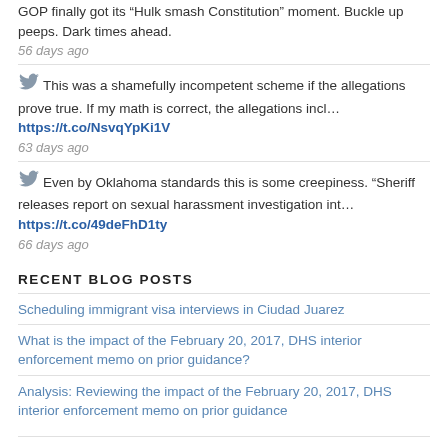GOP finally got its “Hulk smash Constitution” moment. Buckle up peeps. Dark times ahead.
56 days ago
This was a shamefully incompetent scheme if the allegations prove true. If my math is correct, the allegations incl… https://t.co/NsvqYpKi1V
63 days ago
Even by Oklahoma standards this is some creepiness. “Sheriff releases report on sexual harassment investigation int… https://t.co/49deFhD1ty
66 days ago
RECENT BLOG POSTS
Scheduling immigrant visa interviews in Ciudad Juarez
What is the impact of the February 20, 2017, DHS interior enforcement memo on prior guidance?
Analysis: Reviewing the impact of the February 20, 2017, DHS interior enforcement memo on prior guidance
ARCHIVED BLOG POSTS